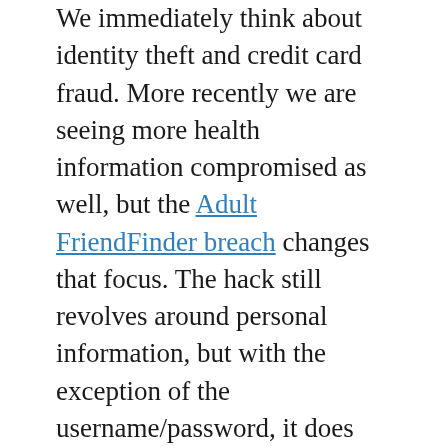We immediately think about identity theft and credit card fraud. More recently we are seeing more health information compromised as well, but the Adult FriendFinder breach changes that focus. The hack still revolves around personal information, but with the exception of the username/password, it does not include social security numbers or credit card numbers. Rather, this breach is focused on a persons sexual preferences or desires.
According to the story at CNN and other news sources, username and passwords were retrieved. As with any breach like this, it is recommended to change your passwords on other sites if you are reusing them, and definitely change the password for this site. While that can be devastating if your username/password combo work on other sites, especially financial sites, we are seeing a different concern arise here.
There are a lot of different data privacy or data breach notification laws that have been passed throughout the